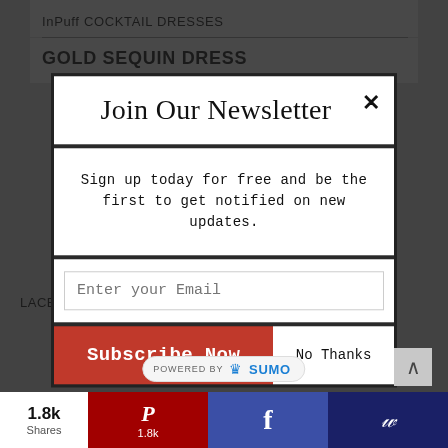InPuff COCKTAIL DRESSES
GOLD SEQUIN DRESS
Join Our Newsletter
Sign up today for free and be the first to get notified on new updates.
Enter your Email
Subscribe Now
No Thanks
LACE JUMPSUIT FOR NEW YEAR's EVE PARTY
POWERED BY SUMO
1.8k Shares
1.8k